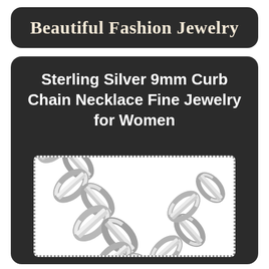Beautiful Fashion Jewelry
Sterling Silver 9mm Curb Chain Necklace Fine Jewelry for Women
[Figure (photo): Close-up photo of a sterling silver 9mm curb chain necklace showing interlocking flat oval links with a polished silver finish, photographed on a white background.]